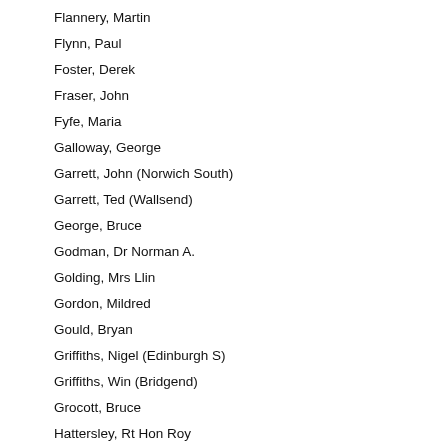Flannery, Martin
Flynn, Paul
Foster, Derek
Fraser, John
Fyfe, Maria
Galloway, George
Garrett, John (Norwich South)
Garrett, Ted (Wallsend)
George, Bruce
Godman, Dr Norman A.
Golding, Mrs Llin
Gordon, Mildred
Gould, Bryan
Griffiths, Nigel (Edinburgh S)
Griffiths, Win (Bridgend)
Grocott, Bruce
Hattersley, Rt Hon Roy